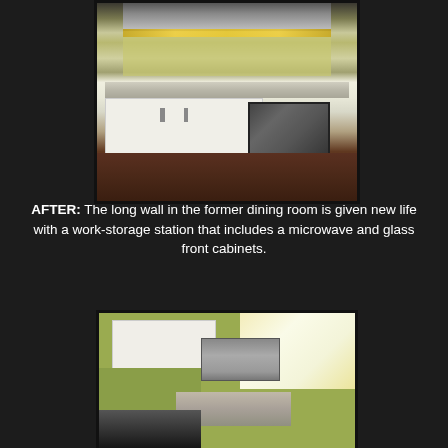[Figure (photo): AFTER photo of a kitchen work-storage station along a long wall in a former dining room. White cabinets with glass fronts above, white lower cabinets with metal bar handles, gray countertop, stainless steel microwave built into lower cabinet area, yellow-green wall paint, under-cabinet lighting, hardwood floor visible.]
AFTER:  The long wall in the former dining room is given new life with a work-storage station that includes a microwave and glass front cabinets.
[Figure (photo): AFTER photo of a kitchen showing white upper cabinets, yellow-green painted walls, a large stainless steel range hood, a bright window with blinds, a stainless steel sink area, and a stove visible in the foreground.]